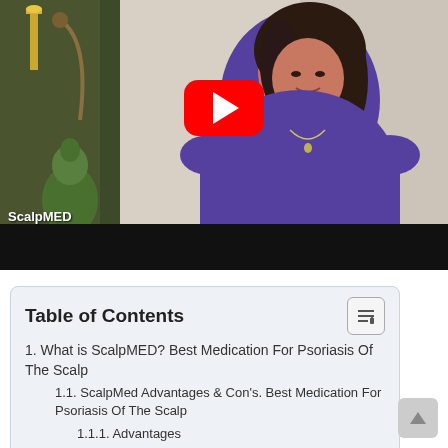[Figure (screenshot): YouTube video thumbnail showing a middle-aged woman with dark hair wearing a purple top, sitting in front of decorative curtains and home decor. A red YouTube play button is centered on the image. The ScalpMED logo appears in the lower left. A black control bar is at the bottom.]
| Table of Contents |
| 1. What is ScalpMED? Best Medication For Psoriasis Of The Scalp |
| 1.1. ScalpMed Advantages & Con's. Best Medication For Psoriasis Of The Scalp |
| 1.1.1. Advantages |